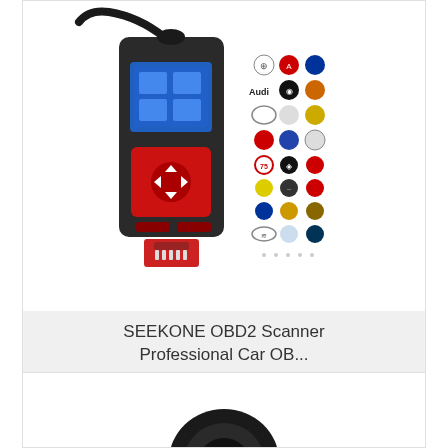[Figure (photo): SEEKONE OBD2 scanner device with red buttons and a screen, alongside a grid of car brand logos]
SEEKONE OBD2 Scanner Professional Car OB...
only $60.99
VIEW
BUY AT AMAZON
[Figure (photo): Partial view of another product, showing a round black device at the bottom of the card]